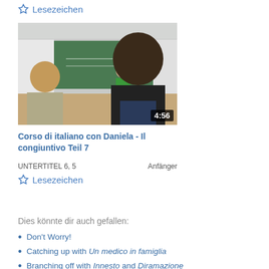☆ Lesezeichen
[Figure (photo): Classroom scene showing a teacher in green top at a blackboard, viewed from behind two students. Duration badge shows 4:56.]
Corso di italiano con Daniela - Il congiuntivo Teil 7
UNTERTITEL 6, 5   Anfänger
☆ Lesezeichen
Dies könnte dir auch gefallen:
Don't Worry!
Catching up with Un medico in famiglia
Branching off with Innesto and Diramazione